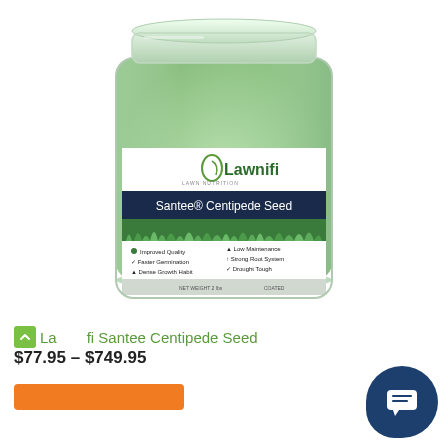[Figure (photo): A clear plastic jar of Lawnifi Santee Centipede Seed. The jar is filled with small green coated seeds. The label shows the Lawnifi logo, 'Santee Centipede Seed' on a dark banner, a grass photo, and bullet points: Improved Quality, Low Maintenance, Faster Germination, Strong Root System, Dense Growth Habit, Drought Tough. Net Weight 2 lbs, Coated.]
Lawnifi Santee Centipede Seed
$77.95 – $749.95